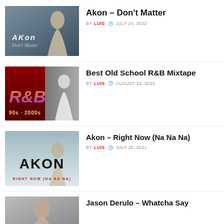[Figure (photo): Akon Don't Matter album art thumbnail with MUSIC badge]
Akon – Don't Matter
BY LUIS · JULY 24, 2022
[Figure (photo): Best Old School R&B Mixtape 90s-2000s thumbnail with MIXTAPE badge]
Best Old School R&B Mixtape
BY LUIS · AUGUST 23, 2022
[Figure (photo): Akon Right Now Na Na Na album art thumbnail with MUSIC badge]
Akon – Right Now (Na Na Na)
BY LUIS · JULY 25, 2021
[Figure (photo): Jason Derulo Whatcha Say thumbnail with MUSIC badge]
Jason Derulo – Whatcha Say